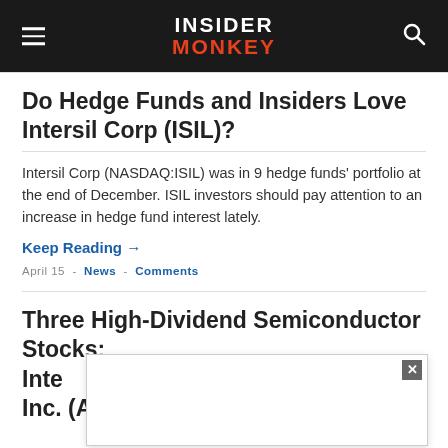INSIDER MONKEY
Do Hedge Funds and Insiders Love Intersil Corp (ISIL)?
Intersil Corp (NASDAQ:ISIL) was in 9 hedge funds' portfolio at the end of December. ISIL investors should pay attention to an increase in hedge fund interest lately.
Keep Reading →
April 15 - News - Comments
Three High-Dividend Semiconductor Stocks: Inte... , Inc. (ADI) and more